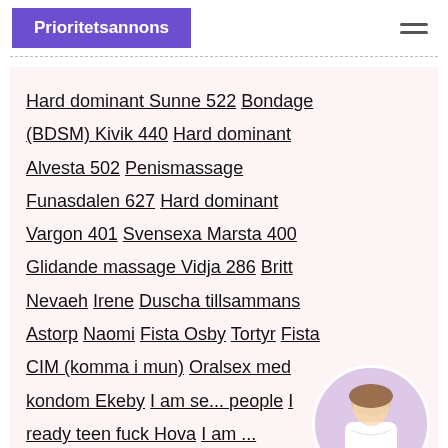Prioritetsannons
Hard dominant Sunne 522 Bondage (BDSM) Kivik 440 Hard dominant Alvesta 502 Penismassage Funasdalen 627 Hard dominant Vargon 401 Svensexa Marsta 400 Glidande massage Vidja 286 Britt Nevaeh Irene Duscha tillsammans Astorp Naomi Fista Osby Tortyr Fista CIM (komma i mun) Oralsex med kondom Ekeby I am se... people I ready teen fuck Hova I am ... contacts Ljungby
[Figure (photo): Circular avatar photo of a woman in white top and light blue shorts]